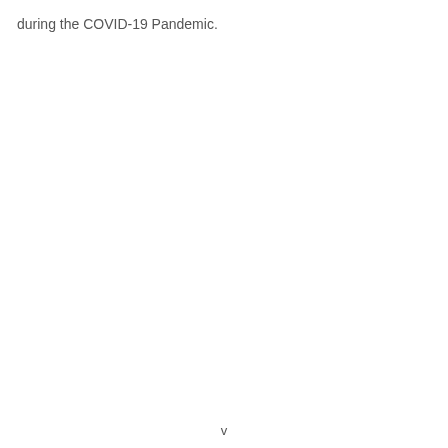during the COVID-19 Pandemic.
v